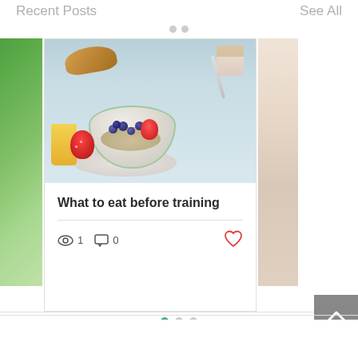Recent Posts
See All
[Figure (photo): A partial view of a food photograph on the left side, showing green/nature imagery]
[Figure (photo): A breakfast bowl with blueberries, strawberries, granola, and yogurt, with orange juice, croissant, and coffee in the background]
What to eat before training
1
0
[Figure (photo): A partial view of a food photograph on the right side]
Pagination dots: 3 dots indicating slide position, first dot active (green)
[Figure (infographic): Back-to-top button with upward chevron arrow on grey background]